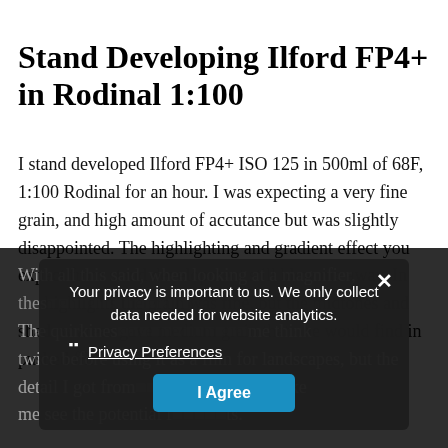Stand Developing Ilford FP4+ in Rodinal 1:100
I stand developed Ilford FP4+ ISO 125 in 500ml of 68F, 1:100 Rodinal for an hour. I was expecting a very fine grain, and high amount of accutance but was slightly disappointed. The highlighting and gradient effect you expect from stand development still blew me away. In the highlights the grain was fine, but the midtones and shadow areas gave medium grain that one would find in pushed film. With all this said, when looking at a magnifier, thes... The quirkines... me think twice before using it as a film for landscapes, but the detail I got from ... th bokeh make me see the potential f... ts.
Your privacy is important to us. We only collect data needed for website analytics.
Privacy Preferences
I Agree